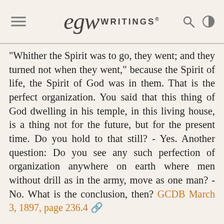EGW WRITINGS®
“Whither the Spirit was to go, they went; and they turned not when they went,” because the Spirit of life, the Spirit of God was in them. That is the perfect organization. You said that this thing of God dwelling in his temple, in this living house, is a thing not for the future, but for the present time. Do you hold to that still? - Yes. Another question: Do you see any such perfection of organization anywhere on earth where men without drill as in the army, move as one man? - No. What is the conclusion, then? GCDB March 3, 1897, page 236.4
Let us consider the matter closely. Here are two statements which you yourselves have made: You have said, having read the scriptures as to what the temple of God is, that it is from the habitation of...